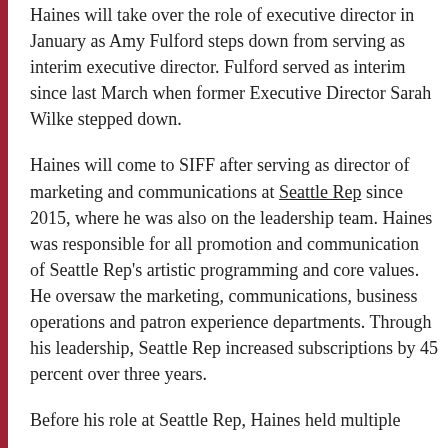Haines will take over the role of executive director in January as Amy Fulford steps down from serving as interim executive director. Fulford served as interim since last March when former Executive Director Sarah Wilke stepped down.
Haines will come to SIFF after serving as director of marketing and communications at Seattle Rep since 2015, where he was also on the leadership team. Haines was responsible for all promotion and communication of Seattle Rep's artistic programming and core values. He oversaw the marketing, communications, business operations and patron experience departments. Through his leadership, Seattle Rep increased subscriptions by 45 percent over three years.
Before his role at Seattle Rep, Haines held multiple